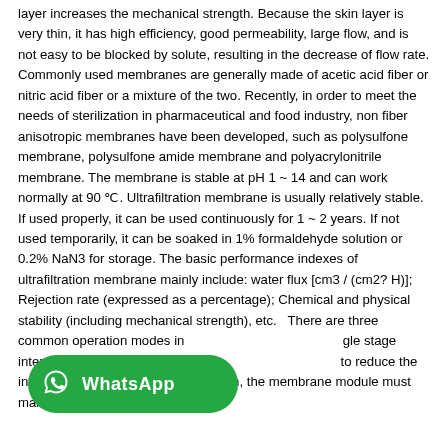layer increases the mechanical strength. Because the skin layer is very thin, it has high efficiency, good permeability, large flow, and is not easy to be blocked by solute, resulting in the decrease of flow rate. Commonly used membranes are generally made of acetic acid fiber or nitric acid fiber or a mixture of the two. Recently, in order to meet the needs of sterilization in pharmaceutical and food industry, non fiber anisotropic membranes have been developed, such as polysulfone membrane, polysulfone amide membrane and polyacrylonitrile membrane. The membrane is stable at pH 1 ~ 14 and can work normally at 90 ℃. Ultrafiltration membrane is usually relatively stable. If used properly, it can be used continuously for 1 ~ 2 years. If not used temporarily, it can be soaked in 1% formaldehyde solution or 0.2% NaN3 for storage. The basic performance indexes of ultrafiltration membrane mainly include: water flux [cm3 / (cm2? H)]; Rejection rate (expressed as a percentage); Chemical and physical stability (including mechanical strength), etc.   There are three common operation modes in single stage intermittent operation: in the ultrafiltration to reduce the influence of concentration polarization, the membrane module must maintain a high feed liquid flow rate
[Figure (logo): WhatsApp logo button overlay — green rounded rectangle with WhatsApp icon and text 'WhatsApp']